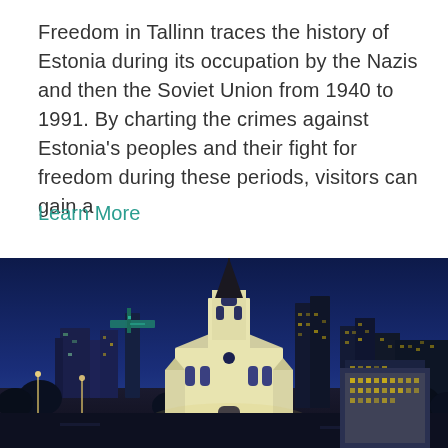Freedom in Tallinn traces the history of Estonia during its occupation by the Nazis and then the Soviet Union from 1940 to 1991. By charting the crimes against Estonia's peoples and their fight for freedom during these periods, visitors can gain a
Learn More
[Figure (photo): Night photo of Tallinn cityscape featuring a white church with a tall dark spire in the foreground, illuminated against a deep blue twilight sky, with modern office buildings and city lights visible in the background.]